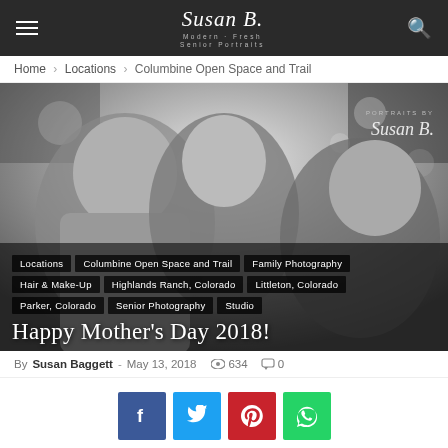Susan B. Modern + Fresh Senior Portraits
Home › Locations › Columbine Open Space and Trail
[Figure (photo): Black and white photo of three people (a man, a young woman, and an older woman) smiling at the camera outdoors, with a watermark reading 'Portraits by Susan B.' in the top right corner. Tags overlaid: Locations, Columbine Open Space and Trail, Family Photography, Hair & Make-Up, Highlands Ranch, Colorado, Littleton, Colorado, Parker, Colorado, Senior Photography, Studio. Title: Happy Mother's Day 2018!]
By Susan Baggett - May 13, 2018  634  0
Share buttons: Facebook, Twitter, Pinterest, WhatsApp